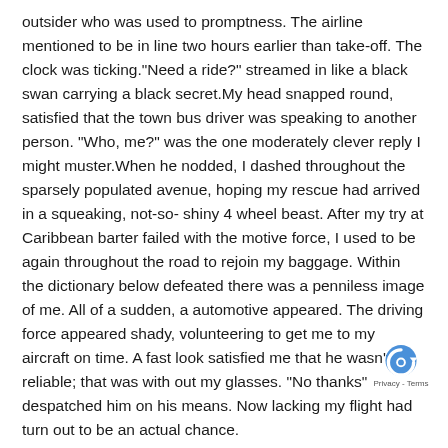outsider who was used to promptness. The airline mentioned to be in line two hours earlier than take-off. The clock was ticking.“Need a ride?” streamed in like a black swan carrying a black secret.My head snapped round, satisfied that the town bus driver was speaking to another person. “Who, me?” was the one moderately clever reply I might muster.When he nodded, I dashed throughout the sparsely populated avenue, hoping my rescue had arrived in a squeaking, not-so- shiny 4 wheel beast. After my try at Caribbean barter failed with the motive force, I used to be again throughout the road to rejoin my baggage. Within the dictionary below defeated there was a penniless image of me. All of a sudden, a automotive appeared. The driving force appeared shady, volunteering to get me to my aircraft on time. A fast look satisfied me that he wasn’t reliable; that was with out my glasses. “No thanks” despatched him on his means. Now lacking my flight had turn out to be an actual chance.
Simply then a second automotive pulled up. “I’ll take you to the
[Figure (logo): reCAPTCHA logo with Privacy - Terms text]